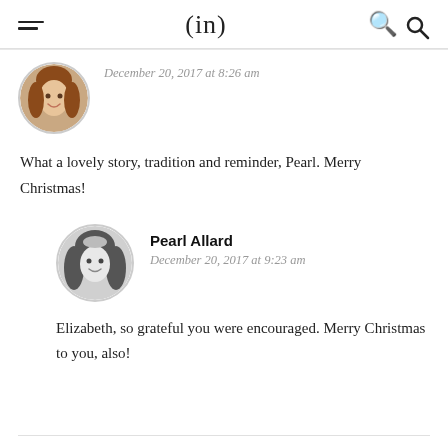(in)
December 20, 2017 at 8:26 am
What a lovely story, tradition and reminder, Pearl. Merry Christmas!
Pearl Allard
December 20, 2017 at 9:23 am
Elizabeth, so grateful you were encouraged. Merry Christmas to you, also!